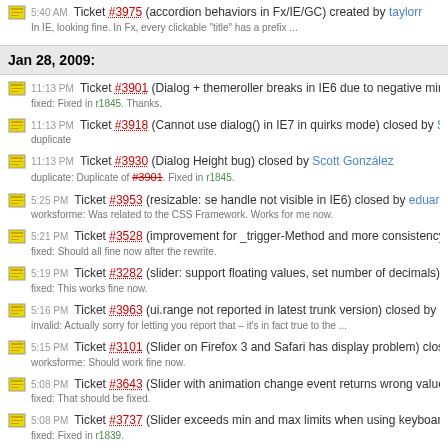5:40 AM Ticket #3975 (accordion behaviors in Fx/IE/GC) created by taylorr — In IE, looking fine. In Fx, every clickable "title" has a prefix ...
Jan 28, 2009:
11:13 PM Ticket #3901 (Dialog + themeroller breaks in IE6 due to negative minHeight) closed — fixed: Fixed in r1845. Thanks.
11:13 PM Ticket #3918 (Cannot use dialog() in IE7 in quirks mode) closed by Scott González — duplicate
11:13 PM Ticket #3930 (Dialog Height bug) closed by Scott González — duplicate: Duplicate of #3901. Fixed in r1845.
5:25 PM Ticket #3953 (resizable: se handle not visible in IE6) closed by eduardo — worksforme: Was related to the CSS Framework. Works for me now.
5:21 PM Ticket #3528 (improvement for _trigger-Method and more consistency in slider eve — fixed: Should all fine now after the rewrite.
5:19 PM Ticket #3282 (slider: support floating values, set number of decimals) closed by pa — fixed: This works fine now.
5:16 PM Ticket #3963 (ui.range not reported in latest trunk version) closed by paul — invalid: Actually sorry for letting you report that – it's in fact true to the ...
5:15 PM Ticket #3101 (Slider on Firefox 3 and Safari has display problem) closed by paul — worksforme: Should work fine now.
5:08 PM Ticket #3643 (Slider with animation change event returns wrong value if you move — fixed: That should be fixed.
5:08 PM Ticket #3737 (Slider exceeds min and max limits when using keyboard) closed by — fixed: Fixed in r1839.
4:56 PM Ticket #3797 (Slider doesn't always return whole numbers) closed by paul — worksforme: Not reproducable for me anymore.